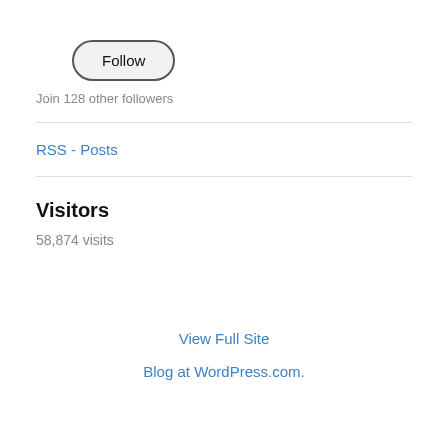[Figure (other): Follow button — rounded pill-shaped button with label 'Follow']
Join 128 other followers
RSS - Posts
Visitors
58,874 visits
View Full Site
Blog at WordPress.com.